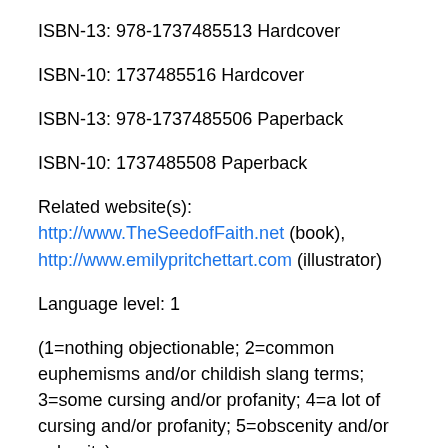ISBN-13: 978-1737485513 Hardcover
ISBN-10: 1737485516 Hardcover
ISBN-13: 978-1737485506 Paperback
ISBN-10: 1737485508 Paperback
Related website(s): http://www.TheSeedofFaith.net (book), http://www.emilypritchettart.com (illustrator)
Language level: 1
(1=nothing objectionable; 2=common euphemisms and/or childish slang terms; 3=some cursing and/or profanity; 4=a lot of cursing and/or profanity; 5=obscenity and/or vulgarity)
Recommended reading level: Suitable for everyone